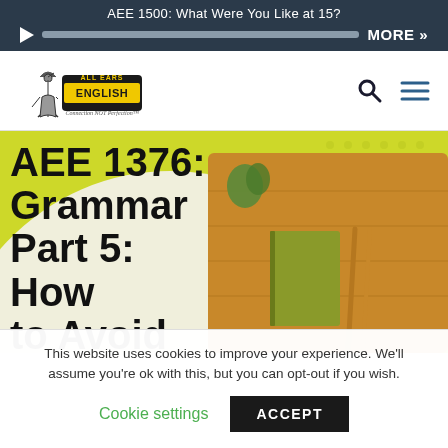AEE 1500: What Were You Like at 15?
[Figure (screenshot): All Ears English podcast logo with Statue of Liberty illustration]
AEE 1376: Grammar Part 5: How to Avoid Misunderstand
[Figure (photo): Wooden board with green notebook and chopsticks on yellow background]
This website uses cookies to improve your experience. We'll assume you're ok with this, but you can opt-out if you wish.
Cookie settings   ACCEPT